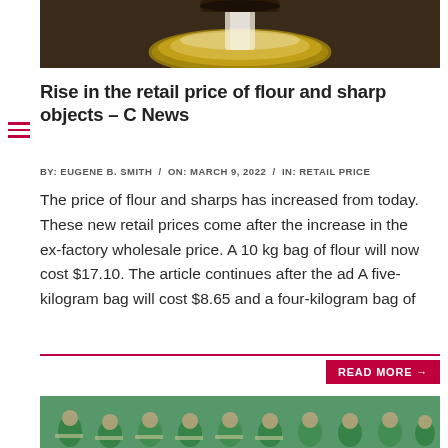[Figure (photo): Flour being poured into a metal bowl from above, close-up shot]
Rise in the retail price of flour and sharp objects – C News
BY: EUGENE B. SMITH / ON: MARCH 9, 2022 / IN: RETAIL PRICE
The price of flour and sharps has increased from today. These new retail prices come after the increase in the ex-factory wholesale price. A 10 kg bag of flour will now cost $17.10. The article continues after the ad A five-kilogram bag will cost $8.65 and a four-kilogram bag of
READ MORE →
[Figure (photo): Workers in green uniforms at workstations in a large factory floor]